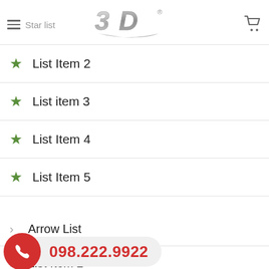Star list — 3D logo header with cart icon
List Item 2
List item 3
List Item 4
List Item 5
Arrow List
List Item 2
List item 3
098.222.9922